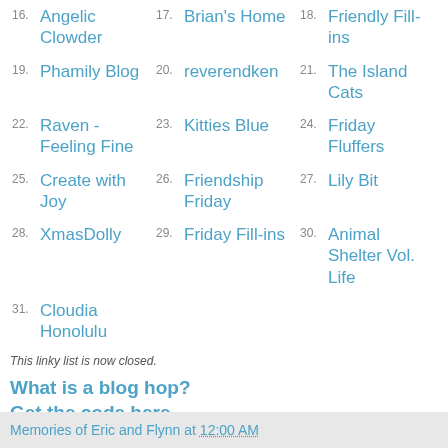16. Angelic Clowder
17. Brian's Home
18. Friendly Fill-ins
19. Phamily Blog
20. reverendken
21. The Island Cats
22. Raven - Feeling Fine
23. Kitties Blue
24. Friday Fluffers
25. Create with Joy
26. Friendship Friday
27. Lily Bit
28. XmasDolly
29. Friday Fill-ins
30. Animal Shelter Vol. Life
31. Cloudia Honolulu
This linky list is now closed.
What is a blog hop?
Get the code here...
Linky Tools | Linky Blog 2013
Memories of Eric and Flynn at 12:00 AM